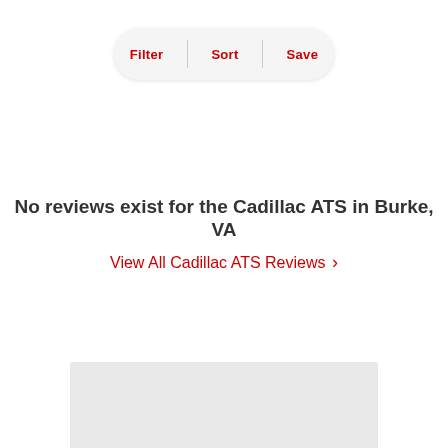[Figure (screenshot): Filter/Sort/Save navigation bar with rounded pill shape and red text buttons]
No reviews exist for the Cadillac ATS in Burke, VA
View All Cadillac ATS Reviews >
[Figure (other): Gray rectangular box at bottom of page, partially visible]